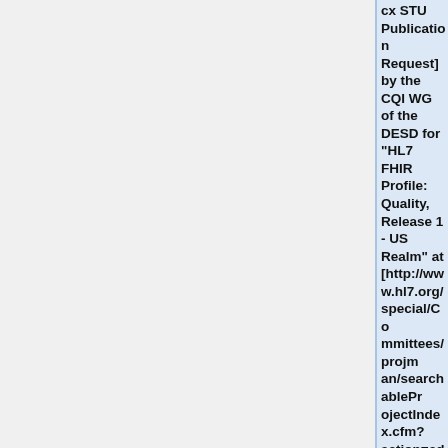cx STU Publication Request] by the CQI WG of the DESD for "HL7 FHIR Profile: Quality, Release 1 - US Realm" at [http://www.hl7.org/special/Committees/projman/searchableProjectIndex.cfm?action=edit&ProjectNumber=1125 Project Insight 1125] and [https://gforge.hl7.org/gf/project/tsc/tracker/?action=TrackerIt